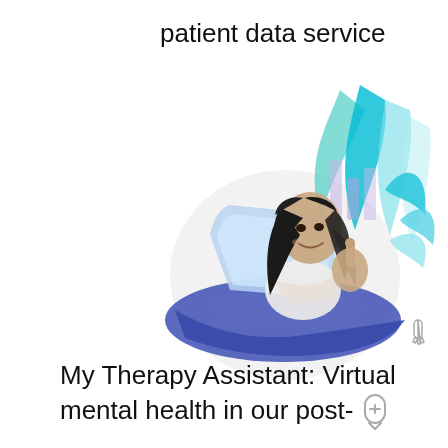patient data service
[Figure (illustration): Illustration of a woman with long dark hair smiling and using a laptop, seated against a purple/blue swoosh background, with decorative teal and turquoise leaf/flame shapes and bar chart elements behind her.]
My Therapy Assistant: Virtual mental health in our post-